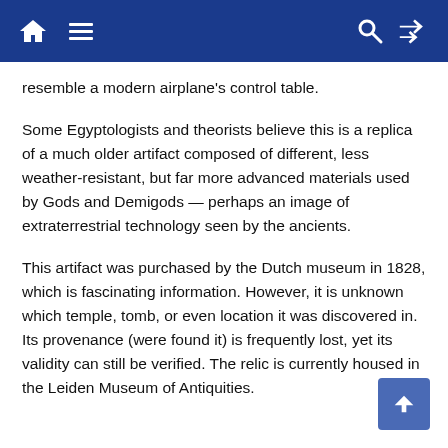Navigation bar with home, menu, search, and shuffle icons
resemble a modern airplane's control table.
Some Egyptologists and theorists believe this is a replica of a much older artifact composed of different, less weather-resistant, but far more advanced materials used by Gods and Demigods — perhaps an image of extraterrestrial technology seen by the ancients.
This artifact was purchased by the Dutch museum in 1828, which is fascinating information. However, it is unknown which temple, tomb, or even location it was discovered in. Its provenance (were found it) is frequently lost, yet its validity can still be verified. The relic is currently housed in the Leiden Museum of Antiquities.